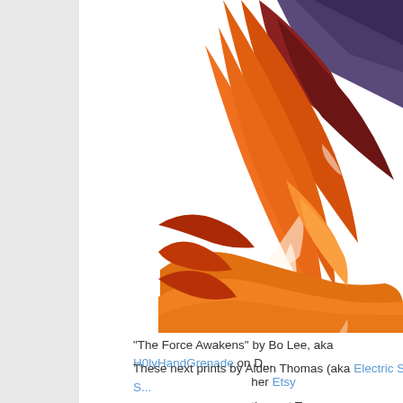[Figure (illustration): Digital illustration titled 'The Force Awakens' by Bo Lee, showing a dramatic orange and red swirling cloth or cape with purple/dark tones at the top, cropped at the right side of the page.]
"The Force Awakens" by Bo Lee, aka H0lyHandGrenade on D... her Etsy
These next prints by Alden Thomas (aka Electric Shoebox S... them at Tampa...